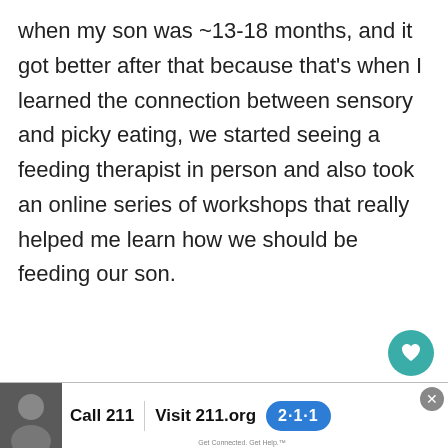when my son was ~13-18 months, and it got better after that because that's when I learned the connection between sensory and picky eating, we started seeing a feeding therapist in person and also took an online series of workshops that really helped me learn how we should be feeding our son.
Please know you're not alone... go to the "FIRST TIME HERE?" section or look at the picky eating worksheet article,
[Figure (screenshot): Advertisement bar: Call 211 | Visit 211.org with 2·1·1 badge logo]